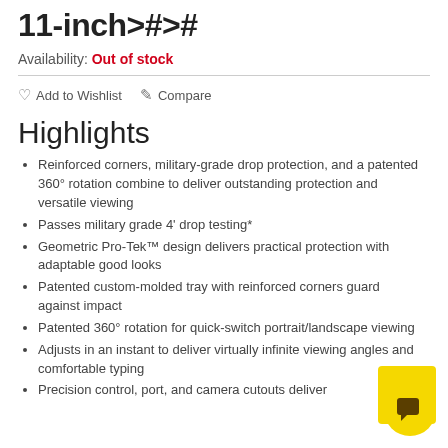11-inch>#>#
Availability: Out of stock
Add to Wishlist   Compare
Highlights
Reinforced corners, military-grade drop protection, and a patented 360° rotation combine to deliver outstanding protection and versatile viewing
Passes military grade 4' drop testing*
Geometric Pro-Tek™ design delivers practical protection with adaptable good looks
Patented custom-molded tray with reinforced corners guard against impact
Patented 360° rotation for quick-switch portrait/landscape viewing
Adjusts in an instant to deliver virtually infinite viewing angles and comfortable typing
Precision control, port, and camera cutouts deliver